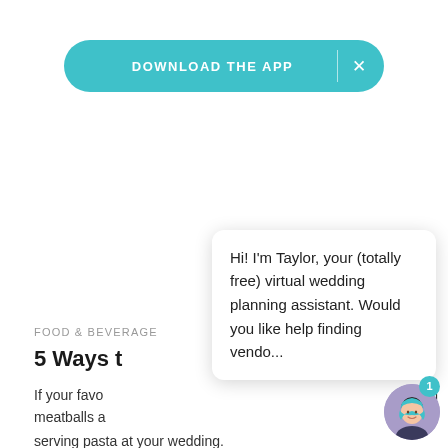[Figure (screenshot): Teal pill-shaped 'DOWNLOAD THE APP' button with an X close button, shown as a website app download banner]
FOOD & BEVERAGE
5 Ways t…
If your favo… igh meatballs a… ably
serving pasta at your wedding.
[Figure (screenshot): Chat popup bubble from Taylor, a virtual wedding planning assistant, saying: Hi! I'm Taylor, your (totally free) virtual wedding planning assistant. Would you like help finding vendo...]
[Figure (illustration): Circular avatar of a cartoon woman with dark hair and teal headscarf on a purple background, with a teal notification badge showing '1']